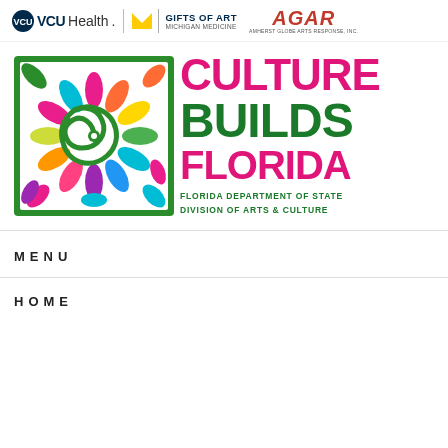[Figure (logo): Three sponsor logos: VCU Health, Michigan Medicine Gifts of Art, and AGAR (Amherst Globe Arts Response, Inc.)]
[Figure (logo): Culture Builds Florida logo with colorful spiral flower design. Text reads CULTURE BUILDS FLORIDA in pink and green. Below: FLORIDA DEPARTMENT OF STATE DIVISION OF ARTS & CULTURE]
MENU
HOME